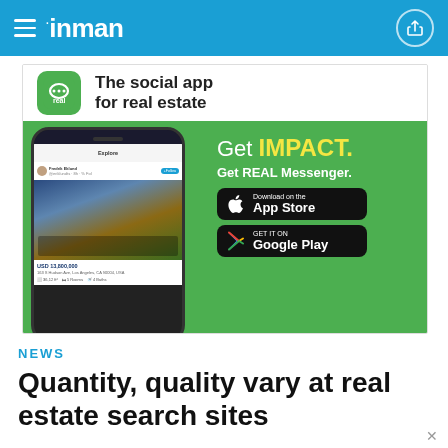inman
[Figure (screenshot): Advertisement for REAL Messenger app showing a phone with a real estate listing, green background with 'Get IMPACT. Get REAL Messenger.' and App Store / Google Play download buttons. Top section shows 'The social app for real estate' with the Real app icon.]
NEWS
Quantity, quality vary at real estate search sites